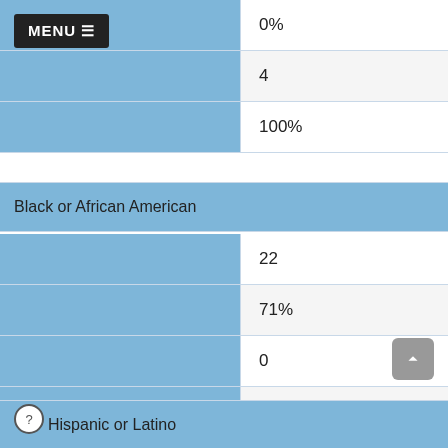|  |  |
| --- | --- |
|  | 0% |
|  | 4 |
|  | 100% |
Black or African American
|  |  |
| --- | --- |
|  | 22 |
|  | 71% |
|  | 0 |
|  | 0% |
|  | 22 |
|  | 100% |
Hispanic or Latino